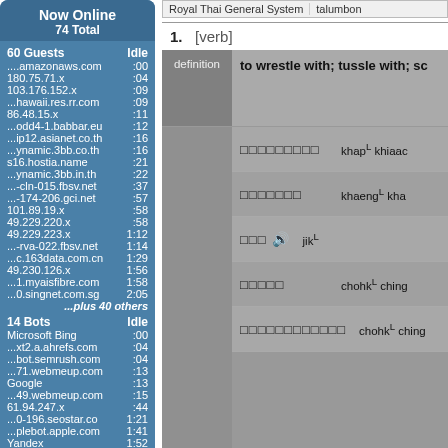Now Online
74 Total
60 Guests
Idle
....amazonaws.com :00
180.75.71.x :04
103.176.152.x :09
...hawaii.res.rr.com :09
86.48.15.x :11
...odd4-1.babbar.eu :12
...ip12.asianet.co.th :16
...ynamic.3bb.co.th :16
s16.hostia.name :21
...ynamic.3bb.in.th :22
...-cln-015.fbsv.net :37
...-174-206.gci.net :57
101.89.19.x :58
49.229.220.x :58
49.229.223.x 1:12
...-rva-022.fbsv.net 1:14
...c.163data.com.cn 1:29
49.230.126.x 1:56
...1.myaisfibre.com 1:58
...0.singnet.com.sg 2:05
...plus 40 others
14 Bots
Idle
Microsoft Bing :00
...xt2.a.ahrefs.com :04
...bot.semrush.com :04
...71.webmeup.com :13
Google :13
...49.webmeup.com :15
61.94.247.x :44
...0-196.seostar.co 1:21
...plebot.apple.com 1:41
Yandex 1:52
...-91.infotiger.com 2:56
...plebot.apple.com 4:39
Royal Thai General System | talumbon
1. [verb]
definition | to wrestle with; tussle with; sc
□□□□□□□□□  khapL khiaac
□□□□□□□  khaengL kha
□□□ 🔊  jikL
□□□□□  chohkL ching
□□□□□□□□□□□□  chohkL ching